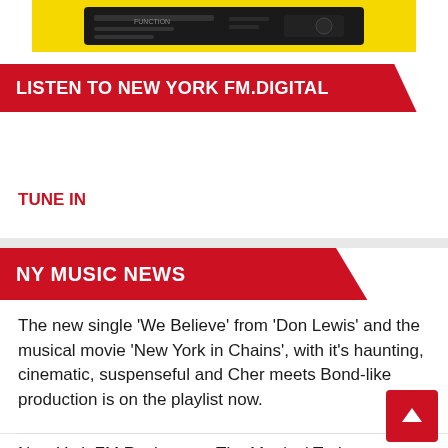[Figure (photo): A radio/audio device on a yellow background — top portion of image cropped]
LISTEN TO NEW YORK FM.DIGITAL
TUNE IN
NY MUSIC NEWS
The new single ‘We Believe’ from ‘Don Lewis’ and the musical movie ‘New York in Chains’, with it's haunting, cinematic, suspenseful and Cher meets Bond-like production is on the playlist now.
New York FM Rock news: The Magical Train